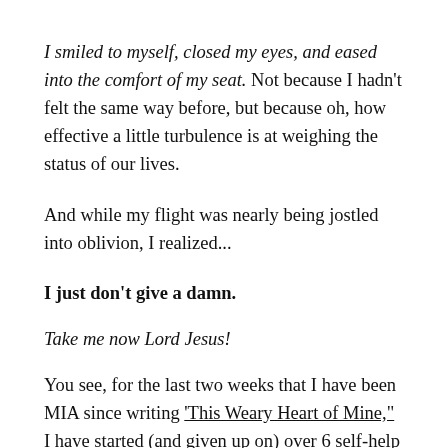I smiled to myself, closed my eyes, and eased into the comfort of my seat. Not because I hadn't felt the same way before, but because oh, how effective a little turbulence is at weighing the status of our lives.
And while my flight was nearly being jostled into oblivion, I realized...
I just don't give a damn.
Take me now Lord Jesus!
You see, for the last two weeks that I have been MIA since writing 'This Weary Heart of Mine,' I have started (and given up on) over 6 self-help books. I have also avoided exactly 11 phone calls, and avoided nearly the equivalent in panic attacks.